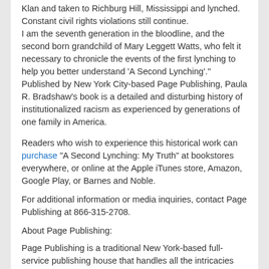Klan and taken to Richburg Hill, Mississippi and lynched. Constant civil rights violations still continue.
I am the seventh generation in the bloodline, and the second born grandchild of Mary Leggett Watts, who felt it necessary to chronicle the events of the first lynching to help you better understand 'A Second Lynching'."
Published by New York City-based Page Publishing, Paula R. Bradshaw's book is a detailed and disturbing history of institutionalized racism as experienced by generations of one family in America.
Readers who wish to experience this historical work can purchase "A Second Lynching: My Truth" at bookstores everywhere, or online at the Apple iTunes store, Amazon, Google Play, or Barnes and Noble.
For additional information or media inquiries, contact Page Publishing at 866-315-2708.
About Page Publishing:
Page Publishing is a traditional New York-based full-service publishing house that handles all the intricacies involved in publishing its authors' books, including distribution in the world's largest retail outlets and royalty generation. Page Publishing knows that authors need to be free to create - not